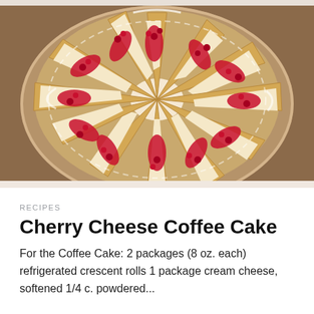[Figure (photo): Overhead photo of a cherry cheese coffee cake made from crescent roll dough arranged in a circular sunburst/pinwheel pattern on a round wooden board, topped with cream cheese filling and red cherry pie filling, drizzled with white glaze.]
RECIPES
Cherry Cheese Coffee Cake
For the Coffee Cake: 2 packages (8 oz. each) refrigerated crescent rolls 1 package cream cheese, softened 1/4 c. powdered...